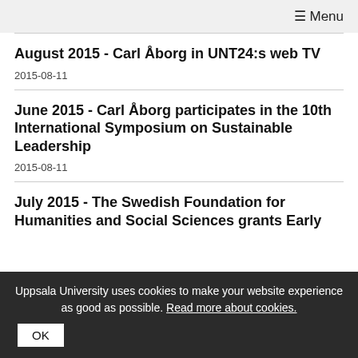☰ Menu
August 2015 - Carl Åborg in UNT24:s web TV
2015-08-11
June 2015 - Carl Åborg participates in the 10th International Symposium on Sustainable Leadership
2015-08-11
July 2015 - The Swedish Foundation for Humanities and Social Sciences grants Early
Uppsala University uses cookies to make your website experience as good as possible. Read more about cookies.
OK